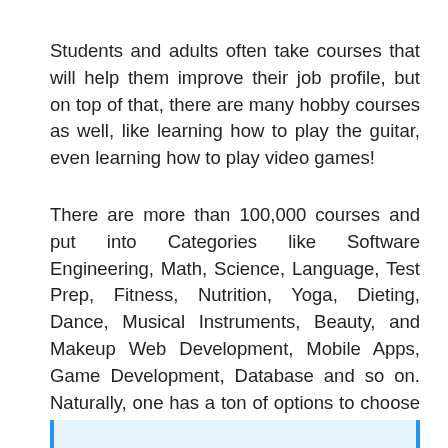Students and adults often take courses that will help them improve their job profile, but on top of that, there are many hobby courses as well, like learning how to play the guitar, even learning how to play video games!
There are more than 100,000 courses and put into Categories like Software Engineering, Math, Science, Language, Test Prep, Fitness, Nutrition, Yoga, Dieting, Dance, Musical Instruments, Beauty, and Makeup Web Development, Mobile Apps, Game Development, Database and so on. Naturally, one has a ton of options to choose from.